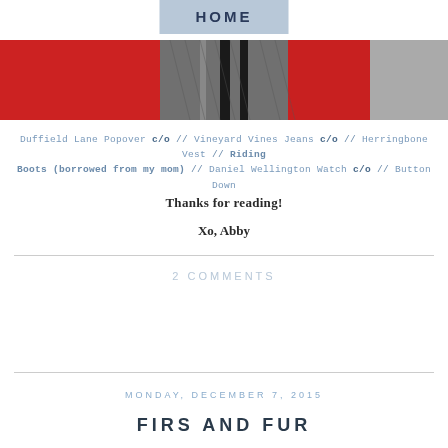HOME
[Figure (photo): Cropped fashion blog photo showing red and grey herringbone clothing items]
Duffield Lane Popover c/o // Vineyard Vines Jeans c/o // Herringbone Vest // Riding Boots (borrowed from my mom) // Daniel Wellington Watch c/o // Button Down
Thanks for reading!
Xo, Abby
2 COMMENTS
MONDAY, DECEMBER 7, 2015
FIRS AND FUR